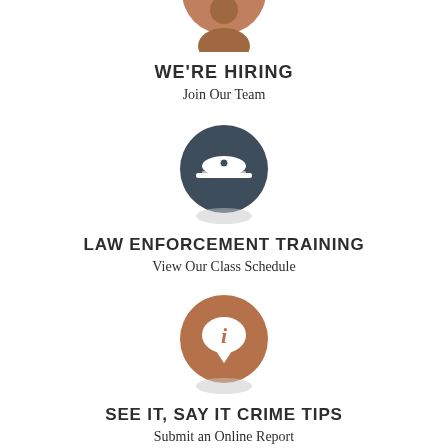[Figure (illustration): Brown/tan circular icon with a person silhouette (hiring/person icon), partially cropped at top]
WE'RE HIRING
Join Our Team
[Figure (illustration): Dark slate/charcoal circular icon with a white police officer cap symbol]
LAW ENFORCEMENT TRAINING
View Our Class Schedule
[Figure (illustration): Warm brown circular icon with a white speech bubble containing an 'i' (information/crime tips icon)]
SEE IT, SAY IT CRIME TIPS
Submit an Online Report